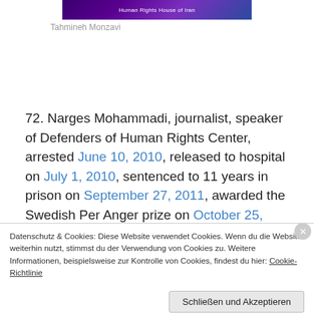[Figure (photo): Banner image with purple/dark background and text 'Human Rights House of Iran']
Tahmineh Monzavi
72. Narges Mohammadi, journalist, speaker of Defenders of Human Rights Center, arrested June 10, 2010, released to hospital on July 1, 2010, sentenced to 11 years in prison on September 27, 2011, awarded the Swedish Per Anger prize on October 25, 2011, sentence reduced to 6
Datenschutz & Cookies: Diese Website verwendet Cookies. Wenn du die Website weiterhin nutzt, stimmst du der Verwendung von Cookies zu. Weitere Informationen, beispielsweise zur Kontrolle von Cookies, findest du hier: Cookie-Richtlinie
Schließen und Akzeptieren